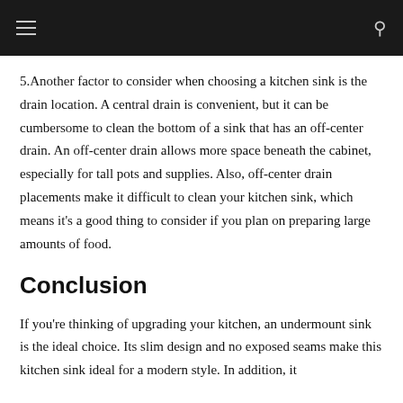5.Another factor to consider when choosing a kitchen sink is the drain location. A central drain is convenient, but it can be cumbersome to clean the bottom of a sink that has an off-center drain. An off-center drain allows more space beneath the cabinet, especially for tall pots and supplies. Also, off-center drain placements make it difficult to clean your kitchen sink, which means it’s a good thing to consider if you plan on preparing large amounts of food.
Conclusion
If you're thinking of upgrading your kitchen, an undermount sink is the ideal choice. Its slim design and no exposed seams make this kitchen sink ideal for a modern style. In addition, it